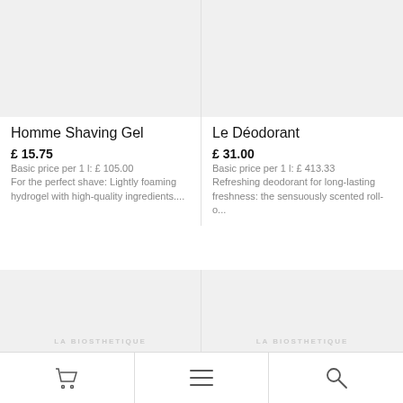[Figure (photo): Product image placeholder for Homme Shaving Gel, light gray background]
Homme Shaving Gel
£ 15.75
Basic price per 1 l: £ 105.00
For the perfect shave: Lightly foaming hydrogel with high-quality ingredients....
[Figure (photo): Product image placeholder for Le Déodorant, light gray background]
Le Déodorant
£ 31.00
Basic price per 1 l: £ 413.33
Refreshing deodorant for long-lasting freshness: the sensuously scented roll-o...
[Figure (photo): Product image placeholder bottom left, light gray with LA BIOSTHETIQUE watermark]
[Figure (photo): Product image placeholder bottom right, light gray with LA BIOSTHETIQUE watermark]
Cart | Menu | Search